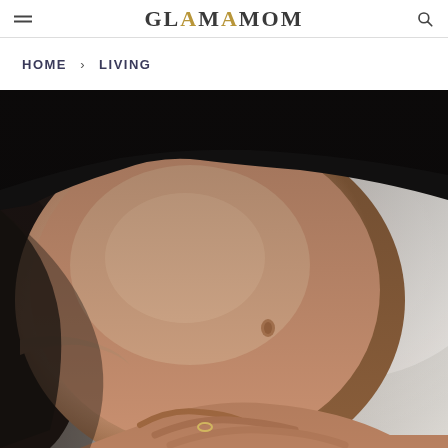GLAMAM​OM
HOME > LIVING
[Figure (photo): Close-up photo of a pregnant woman in a black top, cradling her bare baby bump with both hands, against a soft light grey background.]